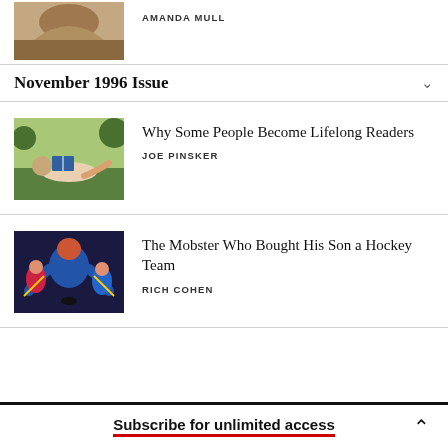AMANDA MULL
November 1996 Issue
Why Some People Become Lifelong Readers
JOE PINSKER
The Mobster Who Bought His Son a Hockey Team
RICH COHEN
Subscribe for unlimited access